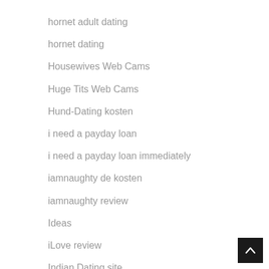hornet adult dating
hornet dating
Housewives Web Cams
Huge Tits Web Cams
Hund-Dating kosten
i need a payday loan
i need a payday loan immediately
iamnaughty de kosten
iamnaughty review
Ideas
iLove review
Indian Dating site
indylend loans payday loan